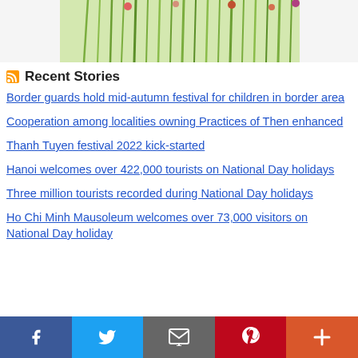[Figure (photo): Top partial image showing green plants/floral arrangement on white background]
Recent Stories
Border guards hold mid-autumn festival for children in border area
Cooperation among localities owning Practices of Then enhanced
Thanh Tuyen festival 2022 kick-started
Hanoi welcomes over 422,000 tourists on National Day holidays
Three million tourists recorded during National Day holidays
Ho Chi Minh Mausoleum welcomes over 73,000 visitors on National Day holiday
[Figure (screenshot): Social share bar with Facebook, Twitter, Email, Pinterest, and More buttons]